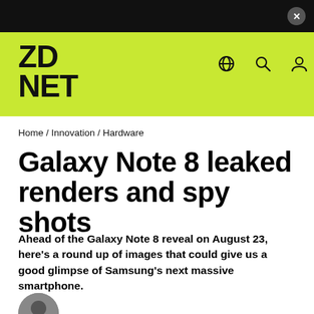ZDNET
Home / Innovation / Hardware
Galaxy Note 8 leaked renders and spy shots
Ahead of the Galaxy Note 8 reveal on August 23, here's a round up of images that could give us a good glimpse of Samsung's next massive smartphone.
[Figure (photo): Author headshot thumbnail, black and white circular portrait]